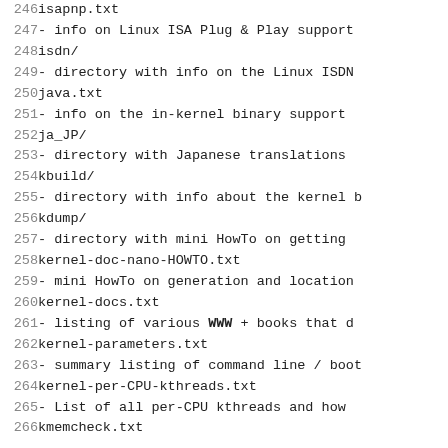246  isapnp.txt
247          - info on Linux ISA Plug & Play support
248  isdn/
249          - directory with info on the Linux ISDN
250  java.txt
251          - info on the in-kernel binary support
252  ja_JP/
253          - directory with Japanese translations
254  kbuild/
255          - directory with info about the kernel b
256  kdump/
257          - directory with mini HowTo on getting
258  kernel-doc-nano-HOWTO.txt
259          - mini HowTo on generation and location
260  kernel-docs.txt
261          - listing of various WWW + books that d
262  kernel-parameters.txt
263          - summary listing of command line / boot
264  kernel-per-CPU-kthreads.txt
265          - List of all per-CPU kthreads and how
266  kmemcheck.txt